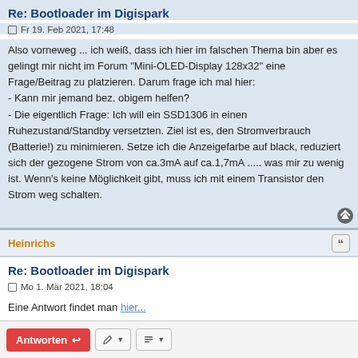Re: Bootloader im Digispark
Fr 19. Feb 2021, 17:48
Also vorneweg ... ich weiß, dass ich hier im falschen Thema bin aber es gelingt mir nicht im Forum "Mini-OLED-Display 128x32" eine Frage/Beitrag zu platzieren. Darum frage ich mal hier:
- Kann mir jemand bez. obigem helfen?
- Die eigentlich Frage: Ich will ein SSD1306 in einen Ruhezustand/Standby versetzten. Ziel ist es, den Stromverbrauch (Batterie!) zu minimieren. Setze ich die Anzeigefarbe auf black, reduziert sich der gezogene Strom von ca.3mA auf ca.1,7mA ..... was mir zu wenig ist. Wenn's keine Möglichkeit gibt, muss ich mit einem Transistor den Strom weg schalten.
Heinrichs
Re: Bootloader im Digispark
Mo 1. Mär 2021, 18:04
Eine Antwort findet man hier...
Antworten